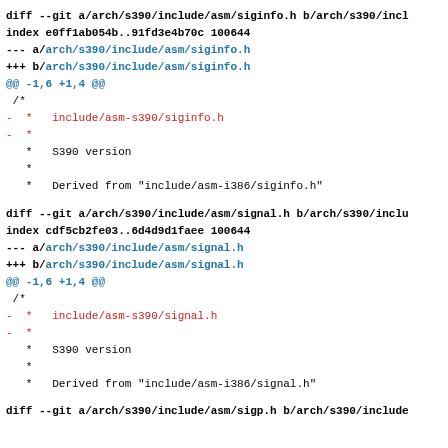diff --git a/arch/s390/include/asm/siginfo.h b/arch/s390/incl
index e0ff1ab054b..91fd3e4b70c 100644
--- a/arch/s390/include/asm/siginfo.h
+++ b/arch/s390/include/asm/siginfo.h
@@ -1,6 +1,4 @@
/*
-  *   include/asm-s390/siginfo.h
-  *
   *   S390 version
   *
   *   Derived from "include/asm-i386/siginfo.h"
diff --git a/arch/s390/include/asm/signal.h b/arch/s390/inclu
index cdf5cb2fe03..6d4d9d1faee 100644
--- a/arch/s390/include/asm/signal.h
+++ b/arch/s390/include/asm/signal.h
@@ -1,6 +1,4 @@
/*
-  *   include/asm-s390/signal.h
-  *
   *   S390 version
   *
   *   Derived from "include/asm-i386/signal.h"
diff --git a/arch/s390/include/asm/sigp.h b/arch/s390/include